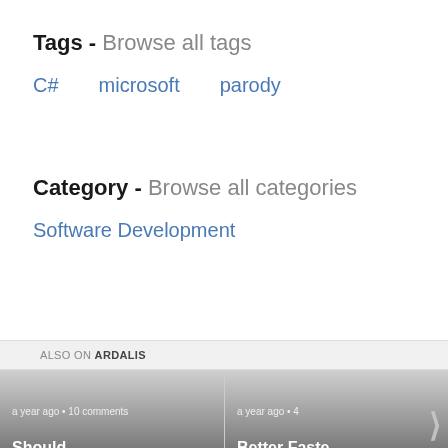Tags - Browse all tags
C#
microsoft
parody
Category - Browse all categories
Software Development
ALSO ON ARDALIS
[Figure (screenshot): Two article preview cards. Left card: 'a year ago · 10 comments — Should Controllers'. Right card (partially visible): 'a year ago · 4 — Better Faste... Demos with'. Navigation arrows on left and right sides.]